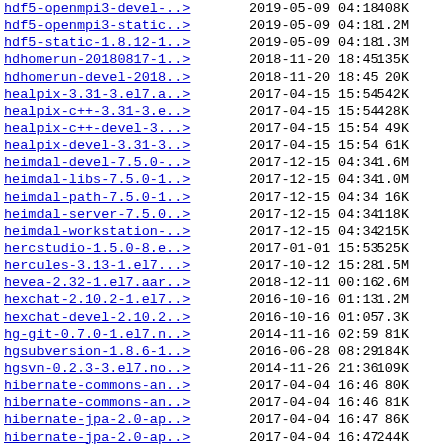| Name | Date | Time | Size |
| --- | --- | --- | --- |
| hdf5-openmpi3-devel-..> | 2019-05-09 | 04:18 | 408K |
| hdf5-openmpi3-static..> | 2019-05-09 | 04:18 | 1.2M |
| hdf5-static-1.8.12-1..> | 2019-05-09 | 04:18 | 1.3M |
| hdhomerun-20180817-1..> | 2018-11-20 | 18:45 | 135K |
| hdhomerun-devel-2018..> | 2018-11-20 | 18:45 | 20K |
| healpix-3.31-3.el7.a..> | 2017-04-15 | 15:54 | 542K |
| healpix-c++-3.31-3.e..> | 2017-04-15 | 15:54 | 428K |
| healpix-c++-devel-3...> | 2017-04-15 | 15:54 | 49K |
| healpix-devel-3.31-3..> | 2017-04-15 | 15:54 | 61K |
| heimdal-devel-7.5.0-..> | 2017-12-15 | 04:34 | 1.6M |
| heimdal-libs-7.5.0-1..> | 2017-12-15 | 04:34 | 1.0M |
| heimdal-path-7.5.0-1..> | 2017-12-15 | 04:34 | 16K |
| heimdal-server-7.5.0..> | 2017-12-15 | 04:34 | 118K |
| heimdal-workstation-..> | 2017-12-15 | 04:34 | 215K |
| hercstudio-1.5.0-8.e..> | 2017-01-01 | 15:53 | 525K |
| hercules-3.13-1.el7...> | 2017-10-12 | 15:28 | 1.5M |
| hevea-2.32-1.el7.aar..> | 2018-12-11 | 00:16 | 2.6M |
| hexchat-2.10.2-1.el7..> | 2016-10-16 | 01:13 | 1.2M |
| hexchat-devel-2.10.2..> | 2016-10-16 | 01:05 | 7.3K |
| hg-git-0.7.0-1.el7.n..> | 2014-11-16 | 02:59 | 81K |
| hgsubversion-1.8.6-1..> | 2016-06-28 | 08:29 | 184K |
| hgsvn-0.2.3-3.el7.no..> | 2014-11-26 | 21:36 | 109K |
| hibernate-commons-an..> | 2017-04-04 | 16:46 | 80K |
| hibernate-commons-an..> | 2017-04-04 | 16:46 | 81K |
| hibernate-jpa-2.0-ap..> | 2017-04-04 | 16:47 | 86K |
| hibernate-jpa-2.0-ap..> | 2017-04-04 | 16:47 | 244K |
| hibernate-jpa-2.1-ap..> | 2017-04-04 | 16:52 | 95K |
| hibernate-jpa-2.1-ap..> | 2017-04-04 | 16:52 | 279K |
| hid-replay-0.7.1-1.e..> | 2016-10-16 | 01:10 | 26K |
| hidapi-0.7.0-2.a88c7..> | 2016-10-16 | 00:51 | 37K |
| hidapi-0.7.0-2.a... | 2016-10-16 | 01:10 | 7.0M |